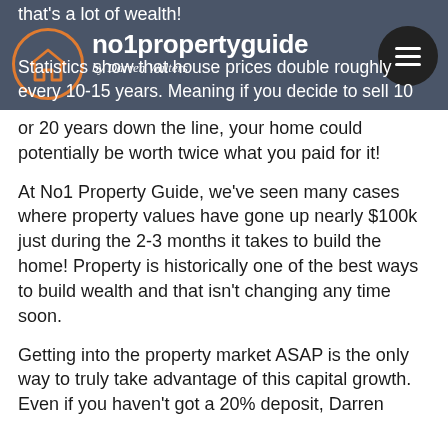no1propertyguide by Darren Walters
that's a lot of wealth! Statistics show that house prices double roughly every 10-15 years. Meaning if you decide to sell 10 or 20 years down the line, your home could potentially be worth twice what you paid for it!
At No1 Property Guide, we've seen many cases where property values have gone up nearly $100k just during the 2-3 months it takes to build the home! Property is historically one of the best ways to build wealth and that isn't changing any time soon.
Getting into the property market ASAP is the only way to truly take advantage of this capital growth. Even if you haven't got a 20% deposit, Darren